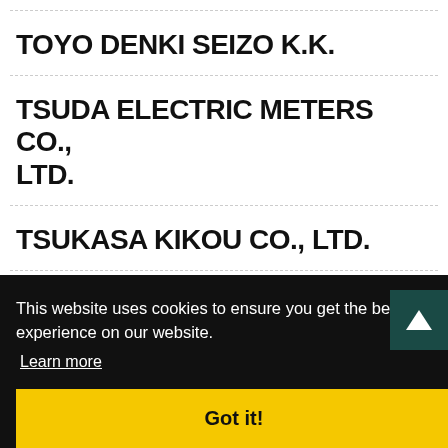TOYO DENKI SEIZO K.K.
TSUDA ELECTRIC METERS CO., LTD.
TSUKASA KIKOU CO., LTD.
This website uses cookies to ensure you get the best experience on our website.
Learn more
Got it!